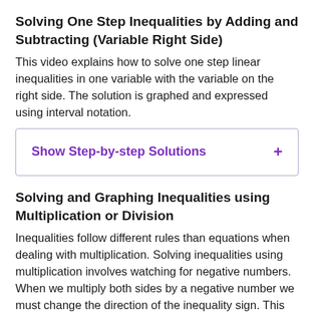Solving One Step Inequalities by Adding and Subtracting (Variable Right Side)
This video explains how to solve one step linear inequalities in one variable with the variable on the right side. The solution is graphed and expressed using interval notation.
Show Step-by-step Solutions  +
Solving and Graphing Inequalities using Multiplication or Division
Inequalities follow different rules than equations when dealing with multiplication. Solving inequalities using multiplication involves watching for negative numbers. When we multiply both sides by a negative number we must change the direction of the inequality sign. This happens when using multiplicative inverses to simplify the way we would when solving multi-step equations.